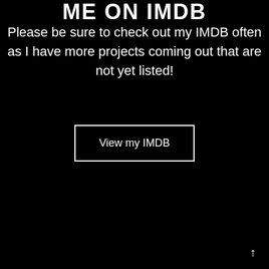ME ON IMDB
Please be sure to check out my IMDB often as I have more projects coming out that are not yet listed!
View my IMDB